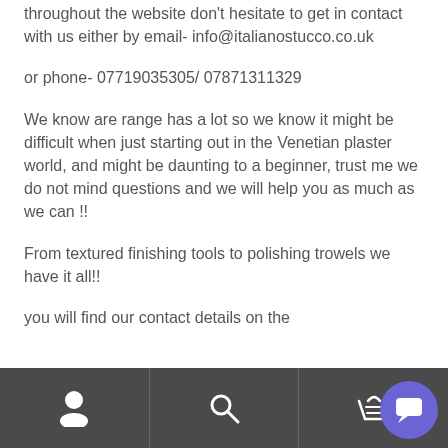throughout the website don't hesitate to get in contact with us either by email- info@italianostucco.co.uk
or phone- 07719035305/ 07871311329
We know are range has a lot so we know it might be difficult when just starting out in the Venetian plaster world, and might be daunting to a beginner, trust me we do not mind questions and we will help you as much as we can !!
From textured finishing tools to polishing trowels we have it all!!
you will find our contact details on the
Navigation bar with person, search, and basket icons plus chat widget